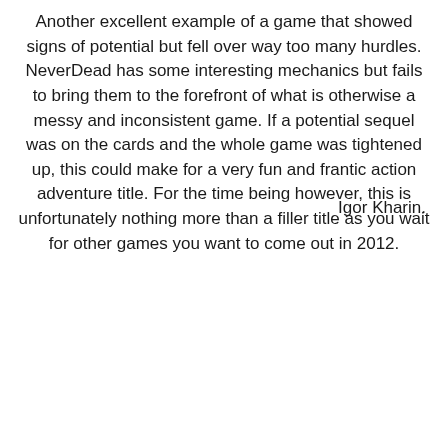Another excellent example of a game that showed signs of potential but fell over way too many hurdles. NeverDead has some interesting mechanics but fails to bring them to the forefront of what is otherwise a messy and inconsistent game. If a potential sequel was on the cards and the whole game was tightened up, this could make for a very fun and frantic action adventure title. For the time being however, this is unfortunately nothing more than a filler title as you wait for other games you want to come out in 2012.
Igor Kharin.